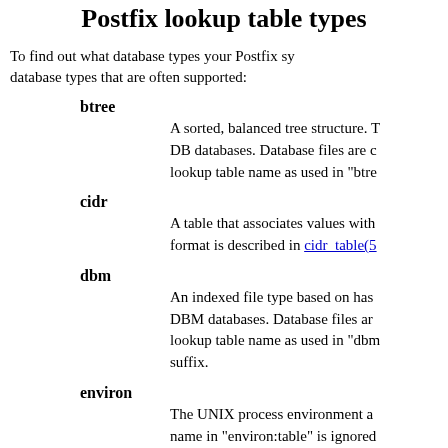Postfix lookup table types
To find out what database types your Postfix system supports, database types that are often supported:
btree
A sorted, balanced tree structure. T DB databases. Database files are c lookup table name as used in "btre
cidr
A table that associates values with format is described in cidr_table(5
dbm
An indexed file type based on has DBM databases. Database files ar lookup table name as used in "dbm suffix.
environ
The UNIX process environment a name in "environ:table" is ignored
hash
An indexed file type based on has Berkeley DB databases. Database command. The database name as u ".db" suffix.